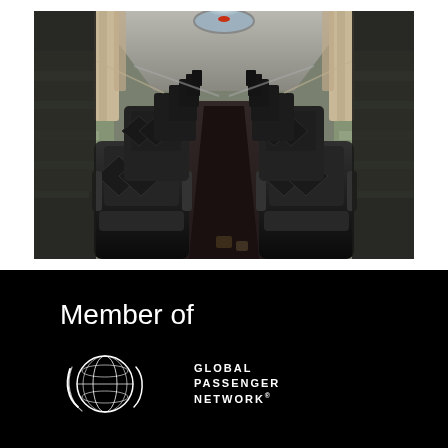[Figure (photo): Interior of a luxury coach bus showing rows of black leather seats receding toward the front of the bus, with motion blur on the windows suggesting the bus is in motion. A skylight is visible at the top of the aisle.]
Member of
[Figure (logo): Global Passenger Network logo: a stylized globe with swoosh lines in white on black background, with text 'GLOBAL PASSENGER NETWORK' in white capital letters to the right.]